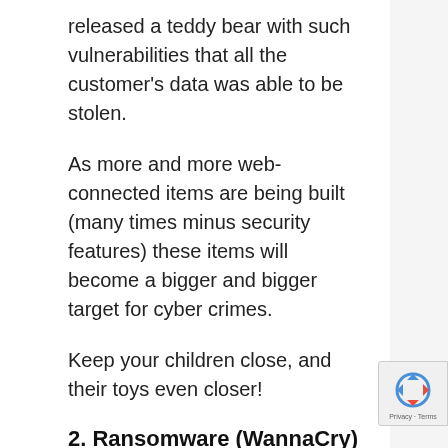released a teddy bear with such vulnerabilities that all the customer's data was able to be stolen.
As more and more web-connected items are being built (many times minus security features) these items will become a bigger and bigger target for cyber crimes.
Keep your children close, and their toys even closer!
2. Ransomware (WannaCry)
Ransomware is generally malware that holds a computer or program hostage until you pay a ransom. The most common attack vector is e…